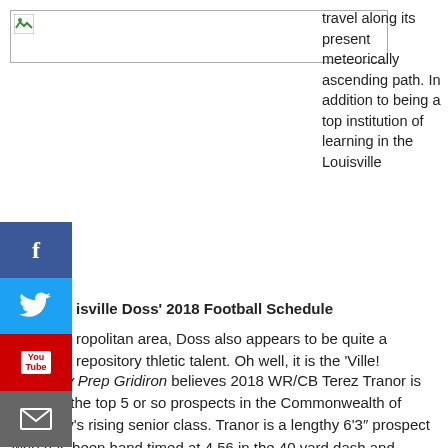[Figure (photo): Placeholder image with broken image icon in top-left corner, wide rectangle border]
travel along its present meteorically ascending path. In addition to being a top institution of learning in the Louisville
isville Doss' 2018 Football Schedule
ropolitan area, Doss also appears to be quite a repository thletic talent. Oh well, it is the 'Ville!
Kentucky Prep Gridiron believes 2018 WR/CB Terez Tranor is easily in the top 5 or so prospects in the Commonwealth of Kentucky's rising senior class. Tranor is a lengthy 6'3″ prospect who has been hand timed at 4.56 in the 40 yard dash and weighs 183 pounds. Tranor plays all over the field for Doss as last year he threw, caught, and ran the ball from scrimmage on offense and played any of the back four positions on